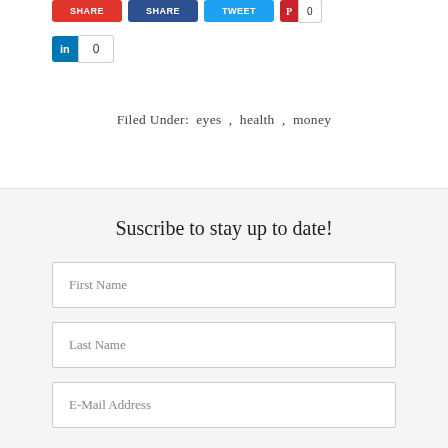[Figure (screenshot): Social share buttons row: red SHARE button, blue SHARE button, blue TWEET button, red Pinterest button with count 0]
[Figure (screenshot): LinkedIn share button with count 0]
Filed Under: eyes , health , money
Suscribe to stay up to date!
First Name
Last Name
E-Mail Address